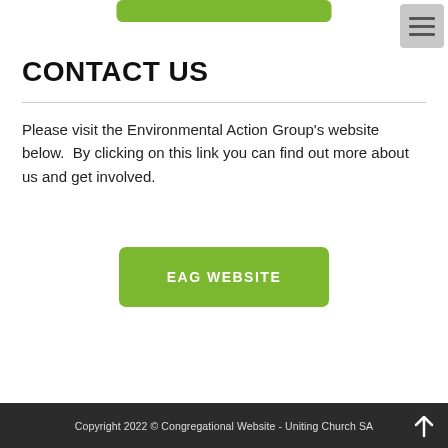[Figure (other): Partial green rounded button visible at top center of page]
[Figure (other): Hamburger menu icon (three horizontal lines) in a gray square, top right corner]
CONTACT US
Please visit the Environmental Action Group's website below.  By clicking on this link you can find out more about us and get involved.
[Figure (other): Green rounded button labeled 'EAG WEBSITE']
Copyright 2022 © Congregational Website - Uniting Church SA